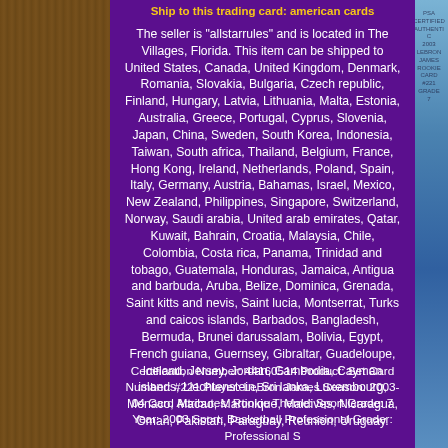Ship to this trading card: american cards
The seller is "allstarrules" and is located in The Villages, Florida. This item can be shipped to United States, Canada, United Kingdom, Denmark, Romania, Slovakia, Bulgaria, Czech republic, Finland, Hungary, Latvia, Lithuania, Malta, Estonia, Australia, Greece, Portugal, Cyprus, Slovenia, Japan, China, Sweden, South Korea, Indonesia, Taiwan, South africa, Thailand, Belgium, France, Hong Kong, Ireland, Netherlands, Poland, Spain, Italy, Germany, Austria, Bahamas, Israel, Mexico, New Zealand, Philippines, Singapore, Switzerland, Norway, Saudi arabia, United arab emirates, Qatar, Kuwait, Bahrain, Croatia, Malaysia, Chile, Colombia, Costa rica, Panama, Trinidad and tobago, Guatemala, Honduras, Jamaica, Antigua and barbuda, Aruba, Belize, Dominica, Grenada, Saint kitts and nevis, Saint lucia, Montserrat, Turks and caicos islands, Barbados, Bangladesh, Bermuda, Brunei darussalam, Bolivia, Egypt, French guiana, Guernsey, Gibraltar, Guadeloupe, Iceland, Jersey, Jordan, Cambodia, Cayman islands, Liechtenstein, Sri lanka, Luxembourg, Monaco, Macao, Martinique, Maldives, Nicaragua, Oman, Pakistan, Paraguay, Reunion, Uruguay.
Certification Number: 44160514 Product: Set Card Number: #221 Player: LeBron James Season: 2003-04 Card Attributes: Rookie Theme: Sport Grade: 7 Year: 2003 Sport: Basketball Professional Grader: Professional S...